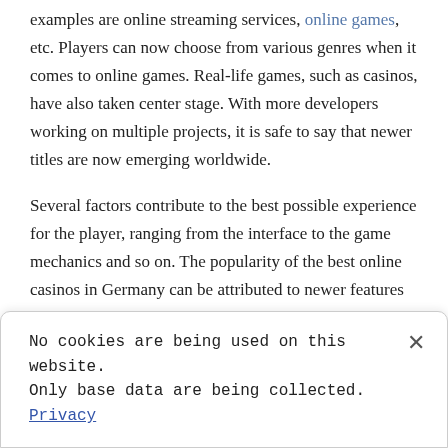examples are online streaming services, online games, etc. Players can now choose from various genres when it comes to online games. Real-life games, such as casinos, have also taken center stage. With more developers working on multiple projects, it is safe to say that newer titles are now emerging worldwide.
Several factors contribute to the best possible experience for the player, ranging from the interface to the game mechanics and so on. The popularity of the best online casinos in Germany can be attributed to newer features and interesting modes that enhance the gaming experience. Here are a few reasons why online casino
No cookies are being used on this website. Only base data are being collected. Privacy